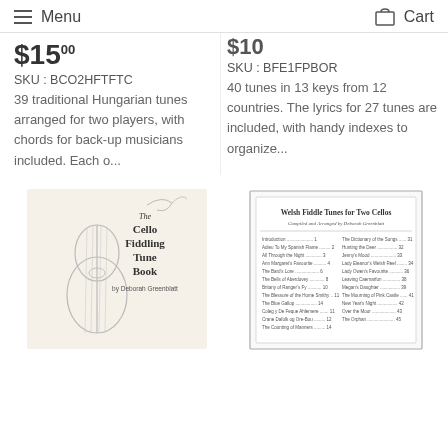Menu  Cart
$15 00
SKU : BCO2HFTFTC
39 traditional Hungarian tunes arranged for two players, with chords for back-up musicians included. Each o...
$10
SKU : BFE1FPBOR
40 tunes in 13 keys from 12 countries. The lyrics for 27 tunes are included, with handy indexes to organize...
[Figure (photo): Book cover: The Cello Fiddling Tune Book by Deborah Greenblatt, showing a cello illustration]
[Figure (photo): Book cover: Welsh Fiddle Tunes for Two Cellos, showing table of contents page]